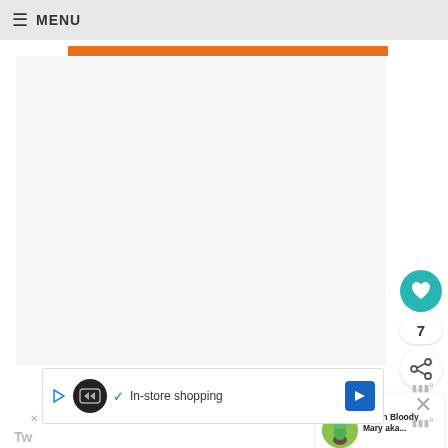≡ MENU
[Figure (other): Orange horizontal bar/banner element]
[Figure (other): Large blank content area (article image placeholder)]
[Figure (other): Teal heart/like button with count 7 and share button]
7
[Figure (other): What's Next panel with green drink thumbnail and text 'Green Bloody Mary aka...']
WHAT'S NEXT → Green Bloody Mary aka...
[Figure (other): Advertisement bar: In-store shopping with logos and icons]
Tw
[Figure (other): Close X button and small logo marks]